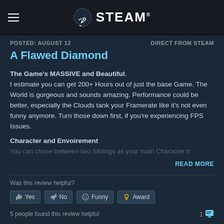STEAM
POSTED: AUGUST 12    DIRECT FROM STEAM
A Flawed Diamond
The Game's MASSIVE and Beautiful.
I estimate you can get 200+ Hours out of just the base Game. The World is gorgeous and sounds amazing. Performance could be better, especially the Clouds tank your Framerate like it's not even funny anymore. Turn those down first, if you're experiencing FPS Issues.
Character and Envoirement
You can chose between two Siblings as your main Character b...
READ MORE
Was this review helpful?
Yes   No   Funny   Award
5 people found this review helpful    1